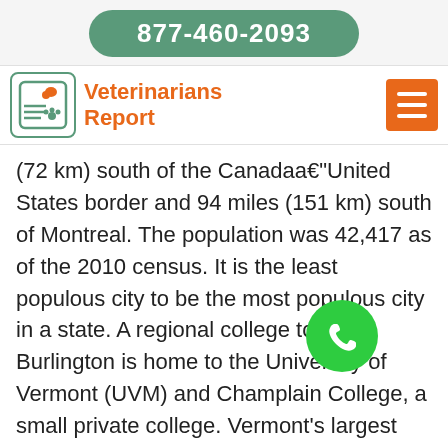877-460-2093
Veterinarians Report
(72 km) south of the Canadaa–United States border and 94 miles (151 km) south of Montreal. The population was 42,417 as of the 2010 census. It is the least populous city to be the most populous city in a state. A regional college town, Burlington is home to the University of Vermont (UVM) and Champlain College, a small private college. Vermont's largest hospital, the UVM Medical Center, is located within the city limits.
[Figure (other): Green circular phone FAB button with white phone handset icon]
[Figure (other): Orange square scroll-to-top button with white upward chevron]